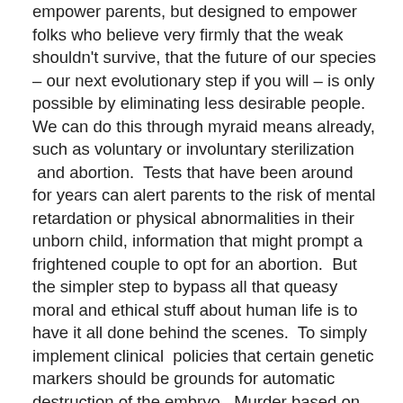empower parents, but designed to empower folks who believe very firmly that the weak shouldn't survive, that the future of our species – our next evolutionary step if you will – is only possible by eliminating less desirable people.  We can do this through myraid means already, such as voluntary or involuntary sterilization  and abortion.  Tests that have been around for years can alert parents to the risk of mental retardation or physical abnormalities in their unborn child, information that might prompt a frightened couple to opt for an abortion.  But the simpler step to bypass all that queasy moral and ethical stuff about human life is to have it all done behind the scenes.  To simply implement clinical  policies that certain genetic markers should be grounds for automatic destruction of the embryo.  Murder based on possible outcomes that I would argue are still far too fuzzy to be very confident of.